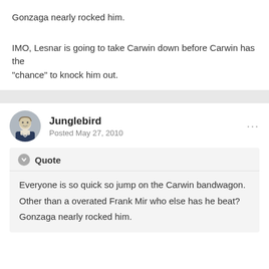Gonzaga nearly rocked him.
IMO, Lesnar is going to take Carwin down before Carwin has the "chance" to knock him out.
Junglebird
Posted May 27, 2010
Quote
Everyone is so quick so jump on the Carwin bandwagon.
Other than a overated Frank Mir who else has he beat?
Gonzaga nearly rocked him.